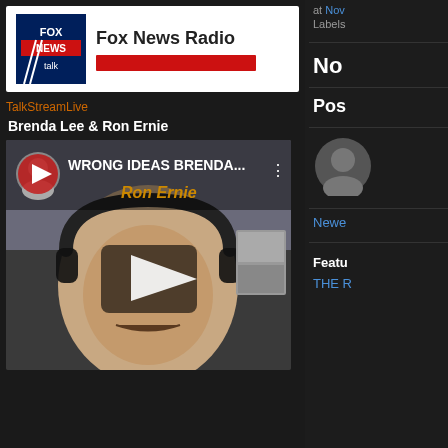[Figure (logo): Fox News Radio widget with Fox News Talk logo, title 'Fox News Radio', red progress bar, and TalkStreamLive link]
Brenda Lee & Ron Ernie
[Figure (screenshot): YouTube video thumbnail showing a man wearing headphones with title 'WRONG IDEAS BRENDA...' and 'Ron Ernie' text overlay, with play button]
at Nov
Labels
No
Pos
Newe
Featu
THE R